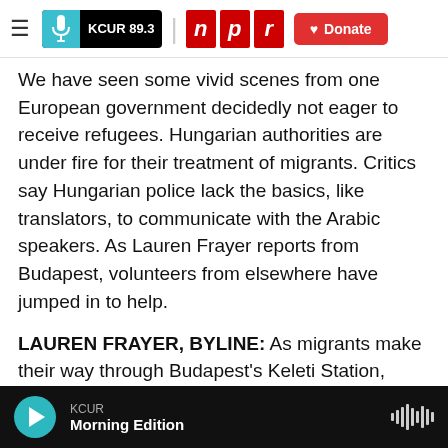KCUR 89.3 | npr | Donate
We have seen some vivid scenes from one European government decidedly not eager to receive refugees. Hungarian authorities are under fire for their treatment of migrants. Critics say Hungarian police lack the basics, like translators, to communicate with the Arabic speakers. As Lauren Frayer reports from Budapest, volunteers from elsewhere have jumped in to help.
LAUREN FRAYER, BYLINE: As migrants make their way through Budapest's Keleti Station, they're greeted by someone with a familiar look, Kaveh Chamsai, a Swedish-Iranian doctor with a big,
KCUR Morning Edition